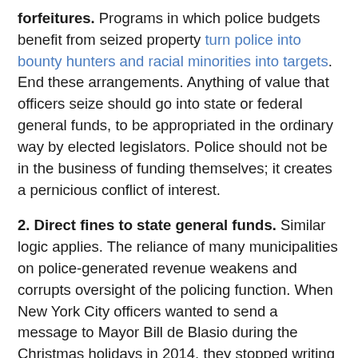forfeitures. Programs in which police budgets benefit from seized property turn police into bounty hunters and racial minorities into targets. End these arrangements. Anything of value that officers seize should go into state or federal general funds, to be appropriated in the ordinary way by elected legislators. Police should not be in the business of funding themselves; it creates a pernicious conflict of interest.
2. Direct fines to state general funds. Similar logic applies. The reliance of many municipalities on police-generated revenue weakens and corrupts oversight of the policing function. When New York City officers wanted to send a message to Mayor Bill de Blasio during the Christmas holidays in 2014, they stopped writing tickets and making arrests. Traffic citations fell by 94%. From small-town speed traps to the country's leading metropolis, police revenue creates a perverse incentive.